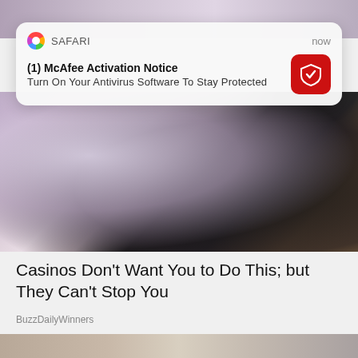[Figure (screenshot): Blurred top portion of a photo visible behind notification]
[Figure (screenshot): Safari browser push notification overlay card showing McAfee Activation Notice]
[Figure (photo): Photo of a person seated, wearing white shirt, with patterned carpet in background]
Casinos Don't Want You to Do This; but They Can't Stop You
BuzzDailyWinners
[Figure (photo): Photo of a hand holding crinkled plastic/foil wrap]